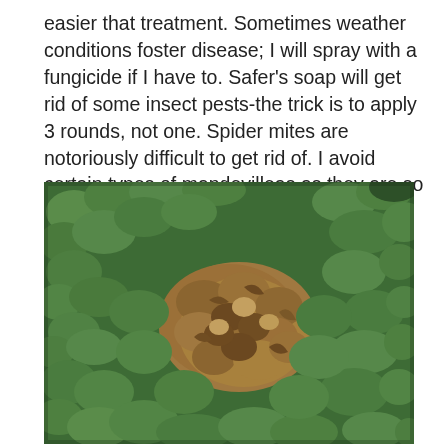easier that treatment. Sometimes weather conditions foster disease; I will spray with a fungicide if I have to. Safer's soap will get rid of some insect pests-the trick is to apply 3 rounds, not one. Spider mites are notoriously difficult to get rid of. I avoid certain types of mandevilleas as they are so prone to them.
[Figure (photo): Close-up photo of a dense green shrub (likely boxwood) with a patch of brown, dried-out dead leaves in the center, surrounded by healthy green foliage. The brown patch indicates disease or pest damage.]